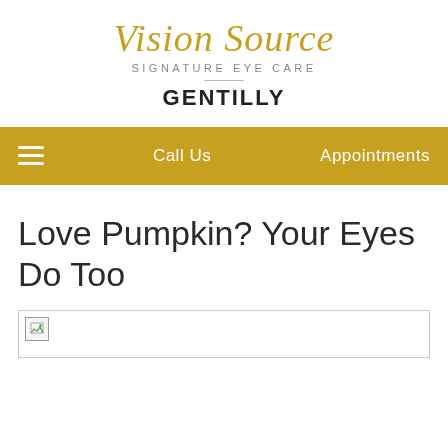[Figure (logo): Vision Source Signature Eye Care logo with golden cursive script and grey subtitle text]
GENTILLY
Call Us | Appointments
Love Pumpkin? Your Eyes Do Too
[Figure (photo): Broken/unloaded image placeholder]